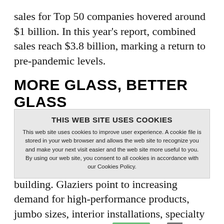sales for Top 50 companies hovered around $1 billion. In this year's report, combined sales reach $3.8 billion, marking a return to pre-pandemic levels.
MORE GLASS, BETTER GLASS
At the root of the growth in the U.S. glazing market during the past 30 years are design trends that have called for glass to be written in larger sizes, in more places on a building. Glaziers point to increasing demand for high-performance products, jumbo sizes, interior installations, specialty glasses and more. For example, in this year's survey, 63 percent of companies worked on a project
THIS WEB SITE USES COOKIES
This web site uses cookies to improve user experience. A cookie file is stored in your web browser and allows the web site to recognize you and make your next visit easier and the web site more useful to you. By using our web site, you consent to all cookies in accordance with our Cookies Policy.